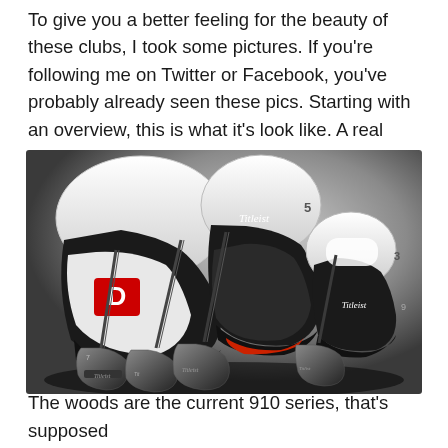To give you a better feeling for the beauty of these clubs, I took some pictures. If you're following me on Twitter or Facebook, you've probably already seen these pics. Starting with an overview, this is what it's look like. A real beauty!
[Figure (photo): A set of Titleist golf clubs with black and white head covers (driver labeled with D, fairway woods labeled Titleist with numbers 3 and 5) and several iron heads grouped together, photographed against a grey background.]
The woods are the current 910 series, that's supposed